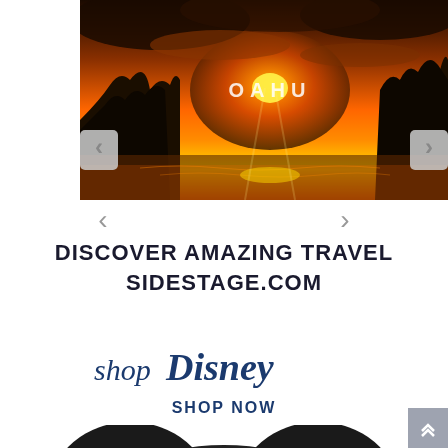[Figure (photo): Sunset photo over rocky coastal cliffs with ocean water, dramatic orange sky, with text 'OAHU' overlaid in the center. Navigation arrows on left and right sides.]
DISCOVER AMAZING TRAVEL
SIDESTAGE.COM
[Figure (logo): shopDisney logo in dark blue cursive/script font, with 'SHOP NOW' text below in bold dark blue, and Mickey Mouse ears silhouette at the bottom of the advertisement.]